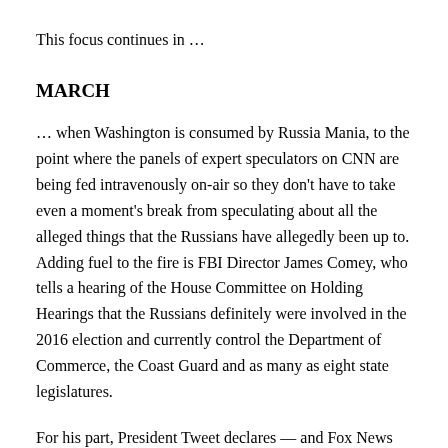This focus continues in …
MARCH
… when Washington is consumed by Russia Mania, to the point where the panels of expert speculators on CNN are being fed intravenously on-air so they don't have to take even a moment's break from speculating about all the alleged things that the Russians have allegedly been up to. Adding fuel to the fire is FBI Director James Comey, who tells a hearing of the House Committee on Holding Hearings that the Russians definitely were involved in the 2016 election and currently control the Department of Commerce, the Coast Guard and as many as eight state legislatures.
For his part, President Tweet declares — and Fox News